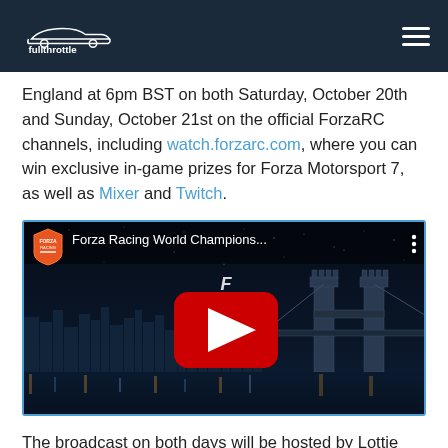fullthrottle
England at 6pm BST on both Saturday, October 20th and Sunday, October 21st on the official ForzaRC channels, including watch.forzarc.com, where you can win exclusive in-game prizes for Forza Motorsport 7, as well as Mixer and Twitch.
[Figure (screenshot): YouTube video embed showing 'Forza Racing World Champions...' with Tower Bridge and London skyline at night in the background, with a red YouTube play button in the center and the Forza Racing World Championship logo overlay.]
The broadcast on both days will be hosted by Lottie Van-Praag and Andy Dudynsky. They will be